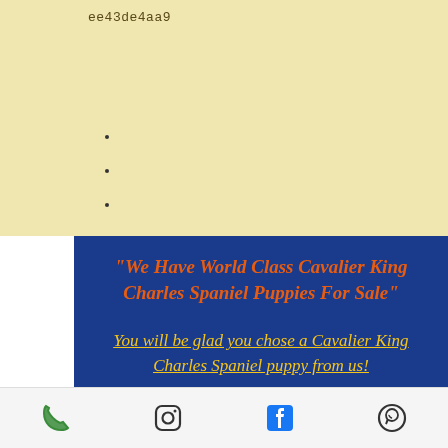ee43de4aa9
"We Have World Class Cavalier King Charles Spaniel Puppies For Sale"
You will be glad you chose a Cavalier King Charles Spaniel puppy from us!
[phone icon] [instagram icon] [facebook icon] [whatsapp icon]